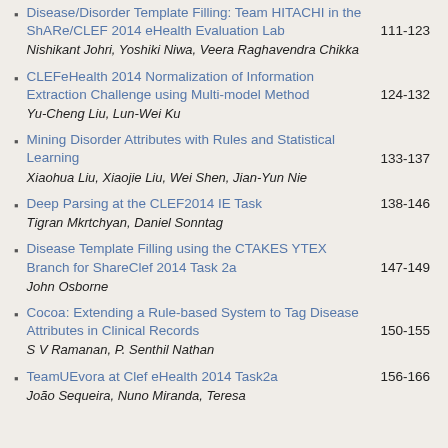Disease/Disorder Template Filling: Team HITACHI in the ShARe/CLEF 2014 eHealth Evaluation Lab 111-123 Nishikant Johri, Yoshiki Niwa, Veera Raghavendra Chikka
CLEFeHealth 2014 Normalization of Information Extraction Challenge using Multi-model Method 124-132 Yu-Cheng Liu, Lun-Wei Ku
Mining Disorder Attributes with Rules and Statistical Learning 133-137 Xiaohua Liu, Xiaojie Liu, Wei Shen, Jian-Yun Nie
Deep Parsing at the CLEF2014 IE Task 138-146 Tigran Mkrtchyan, Daniel Sonntag
Disease Template Filling using the CTAKES YTEX Branch for ShareClef 2014 Task 2a 147-149 John Osborne
Cocoa: Extending a Rule-based System to Tag Disease Attributes in Clinical Records 150-155 S V Ramanan, P. Senthil Nathan
TeamUEvora at Clef eHealth 2014 Task2a 156-166 João Sequeira, Nuno Miranda, Teresa